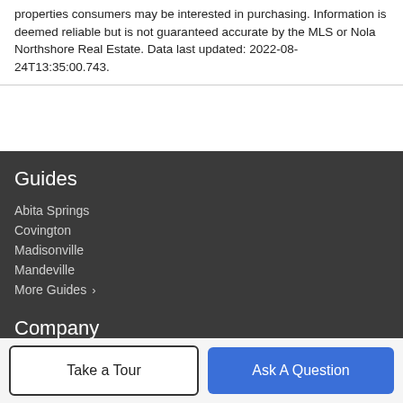properties consumers may be interested in purchasing. Information is deemed reliable but is not guaranteed accurate by the MLS or Nola Northshore Real Estate. Data last updated: 2022-08-24T13:35:00.743.
Guides
Abita Springs
Covington
Madisonville
Mandeville
More Guides >
Company
Meet The Team
Our Blog
Take a Tour
Ask A Question